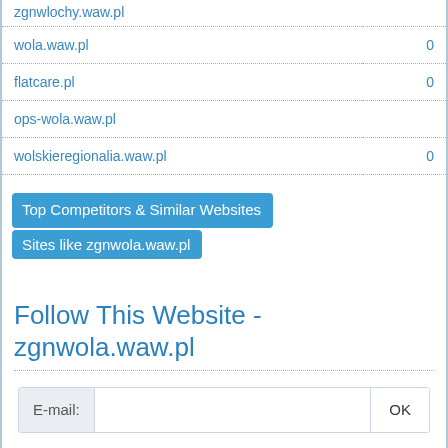| Site | Value |
| --- | --- |
| zgnwlochy.waw.pl |  |
| wola.waw.pl | 0 |
| flatcare.pl | 0 |
| ops-wola.waw.pl |  |
| wolskieregionalia.waw.pl | 0 |
Top Competitors & Similar Websites
Sites like zgnwola.waw.pl
Follow This Website - zgnwola.waw.pl
E-mail:  OK